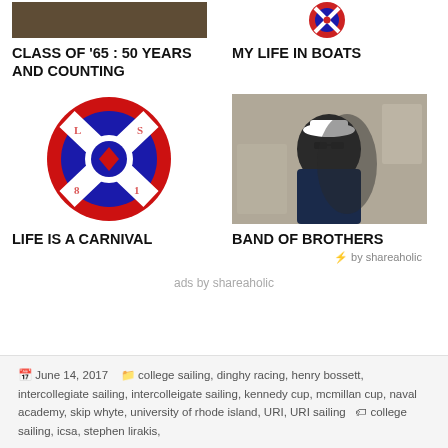[Figure (photo): Top left thumbnail photo - dark/sepia toned image]
CLASS OF '65 : 50 YEARS AND COUNTING
[Figure (logo): Top right - red and blue circular sailing logo with X pattern]
MY LIFE IN BOATS
[Figure (logo): Bottom left - red and blue circular sailing logo with X pattern]
LIFE IS A CARNIVAL
[Figure (photo): Bottom right - photo of a man wearing sunglasses and a white hat]
BAND OF BROTHERS
⚡ by shareaholic
ads by shareaholic
June 14, 2017  college sailing, dinghy racing, henry bossett, intercollegiate sailing, intercolleigate sailing, kennedy cup, mcmillan cup, naval academy, skip whyte, university of rhode island, URI, URI sailing  college sailing, icsa, stephen lirakis,